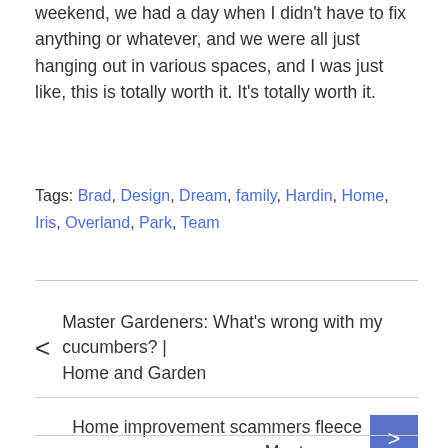weekend, we had a day when I didn't have to fix anything or whatever, and we were all just hanging out in various spaces, and I was just like, this is totally worth it. It's totally worth it.
Tags: Brad, Design, Dream, family, Hardin, Home, Iris, Overland, Park, Team
< Master Gardeners: What's wrong with my cucumbers? | Home and Garden
Home improvement scammers fleece Montgomery Co. woman >